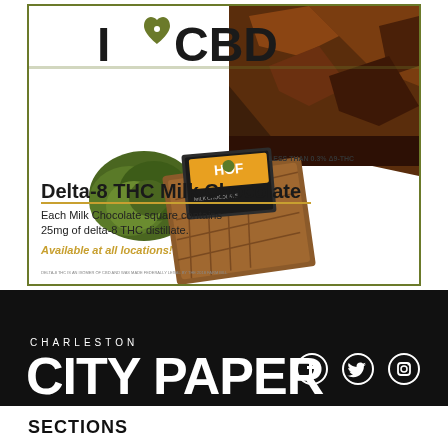[Figure (advertisement): I Love CBD advertisement featuring HOF Delta-8 THC Milk Chocolate bar with chocolate pieces, cannabis bud. Text: 'I ♥ CBD', 'Delta-8 THC Milk Chocolate', 'Each Milk Chocolate square contains 25mg of delta-8 THC distillate.', 'Available at all locations!', 'LESS THAN 0.3% Δ9-THC', fine print about Delta-8 THC being an isomer of CBD made federally legal by the 2018 Farm Bill.]
CHARLESTON CITY PAPER
SECTIONS